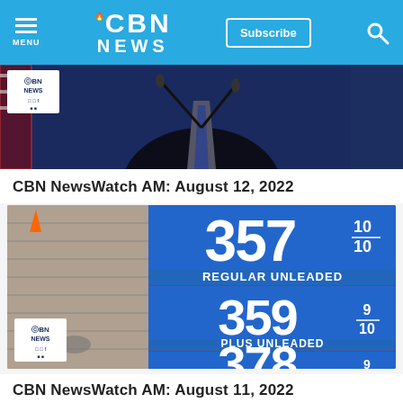CBN NEWS — navigation bar with Menu, Subscribe, Search
[Figure (photo): A person in a dark suit at a podium with microphones against a dark blue background, with a CBN News logo overlay in the lower left]
CBN NewsWatch AM: August 12, 2022
[Figure (photo): A gas station price sign showing Regular Unleaded 3 5 7 10/10, Plus Unleaded 3 5 9 9/10, Supreme 3 7 8 9/10, with a CBN News logo overlay]
CBN NewsWatch AM: August 11, 2022